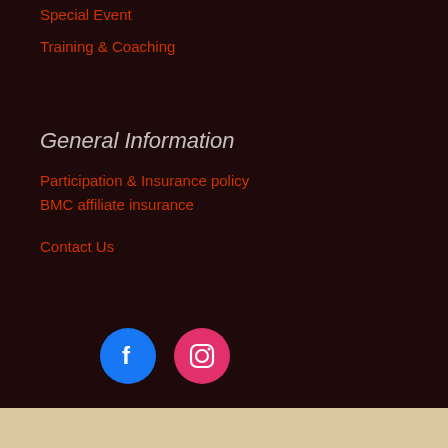Special Event
Training & Coaching
General Information
Participation & Insurance policy
BMC affiliate insurance
Contact Us
[Figure (illustration): Facebook and Instagram social media icon buttons. Facebook icon is a blue circle with white 'f' logo. Instagram icon is a pink/magenta circle with white camera logo.]